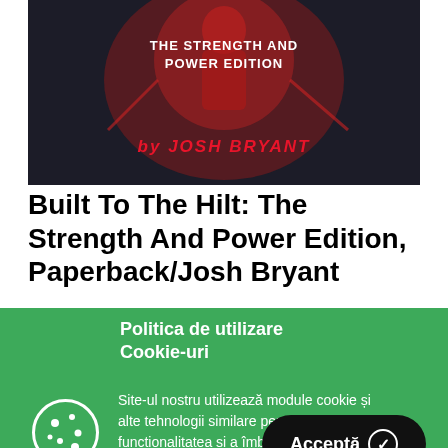[Figure (photo): Book cover of 'Built To The Hilt: The Strength And Power Edition' by Josh Bryant — dark dramatic background with red accents and bold red/white typography]
Built To The Hilt: The Strength And Power Edition, Paperback/Josh Bryant
Politica de utilizare Cookie-uri
Site-ul nostru utilizează module cookie și alte tehnologii similare pentru a optimiza funcționalitatea si a îmbunătăți experiența de navigare.
Află mai multe »
Acceptă ✓